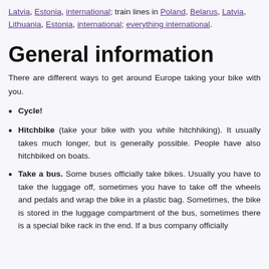Latvia, Estonia, international; train lines in Poland, Belarus, Latvia, Lithuania, Estonia, international; everything international.
General information
There are different ways to get around Europe taking your bike with you.
Cycle!
Hitchbike (take your bike with you while hitchhiking). It usually takes much longer, but is generally possible. People have also hitchbiked on boats.
Take a bus. Some buses officially take bikes. Usually you have to take the luggage off, sometimes you have to take off the wheels and pedals and wrap the bike in a plastic bag. Sometimes, the bike is stored in the luggage compartment of the bus, sometimes there is a special bike rack in the end. If a bus company officially